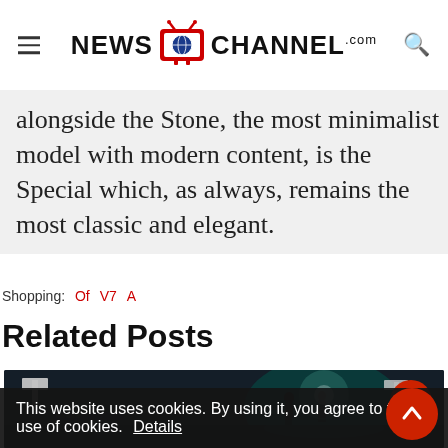NEWS CHANNEL.com
alongside the Stone, the most minimalist model with modern content, is the Special which, as always, remains the most classic and elegant.
Shopping: Of  V7  A
Related Posts
[Figure (photo): Dark cinematic scene with two silhouetted figures walking in a dimly lit environment with teal/green lighting and studio lights visible]
This website uses cookies. By using it, you agree to the use of cookies. Details